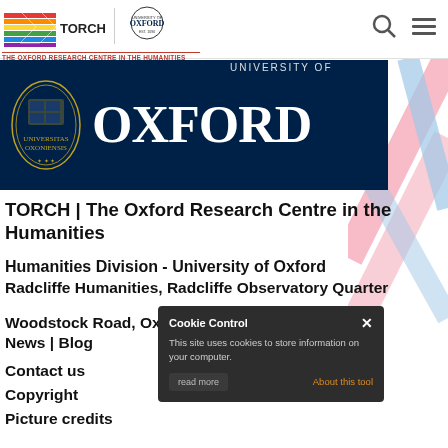[Figure (logo): TORCH logo with colourful stripes and University of Oxford shield logo, top navigation bar]
THE OXFORD RESEARCH CENTRE IN THE HUMANITIES
[Figure (logo): University of Oxford dark blue banner with Oxford crest and OXFORD wordmark in white]
TORCH | The Oxford Research Centre in the Humanities
Humanities Division - University of Oxford
Radcliffe Humanities, Radcliffe Observatory Quarter
Woodstock Road, Oxford OX2 6GG, U.K.
News | Blog
Contact us
Copyright
Picture credits
Cookie Control
This site uses cookies to store information on your computer.
About this tool
read more